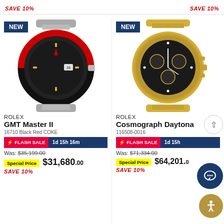SAVE 10%
SAVE 10%
[Figure (photo): Rolex GMT Master II 16710 Black Red COKE watch on steel bracelet]
ROLEX
GMT Master II
16710 Black Red COKE
⚡ FLASH SALE  1d 15h 16m
Was: $35,199.00
Special Price  $31,680.00
SAVE 10%
[Figure (photo): Rolex Cosmograph Daytona 116508-0016 yellow gold watch with black diamond dial]
ROLEX
Cosmograph Daytona
116508-0016
⚡ FLASH SALE  1d 15h
Was: $71,334.00
Special Price  $64,201.00
SAVE 10%